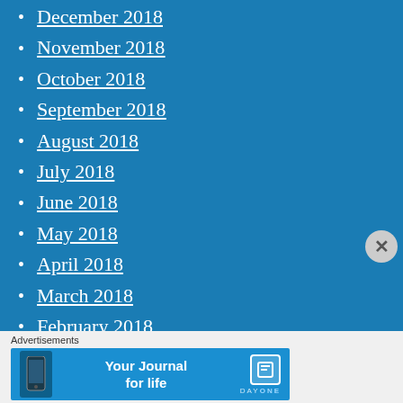December 2018
November 2018
October 2018
September 2018
August 2018
July 2018
June 2018
May 2018
April 2018
March 2018
February 2018
January 2018
December 2017
November 2017
[Figure (screenshot): Advertisement banner for Day One app: 'Your Journal for life' with Day One logo]
Advertisements